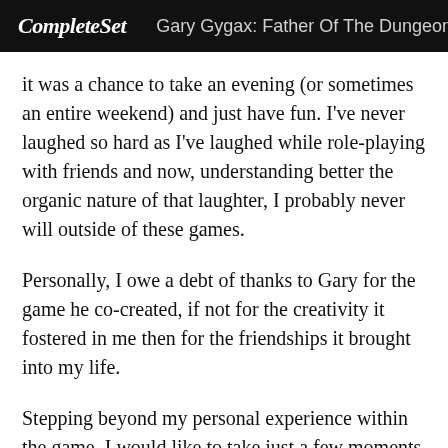CompleteSet   Gary Gygax: Father Of The Dungeons
it was a chance to take an evening (or sometimes an entire weekend) and just have fun. I've never laughed so hard as I've laughed while role-playing with friends and now, understanding better the organic nature of that laughter, I probably never will outside of these games.
Personally, I owe a debt of thanks to Gary for the game he co-created, if not for the creativity it fostered in me then for the friendships it brought into my life.
Stepping beyond my personal experience within the game, I would like to take just a few moments to consider the broader resurgence we are seeing in popular culture. Over the last two years, it feels as if